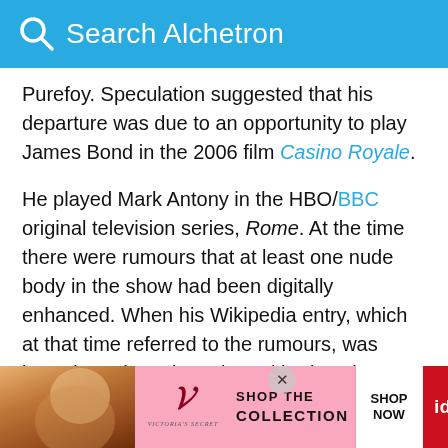Search Alchetron
Purefoy. Speculation suggested that his departure was due to an opportunity to play James Bond in the 2006 film Casino Royale.
He played Mark Antony in the HBO/BBC original television series, Rome. At the time there were rumours that at least one nude body in the show had been digitally enhanced. When his Wikipedia entry, which at that time referred to the rumours, was brought up in an interview with Alastair McKay, published in the January 2007 issue of Out magazine, Purefoy said, "I won't say whose it was but there was a penis in the series that may have been
[Figure (advertisement): Victoria's Secret advertisement banner with model photo, VS logo, 'SHOP THE COLLECTION' text, 'SHOP NOW' button, and 'id-19' tag]